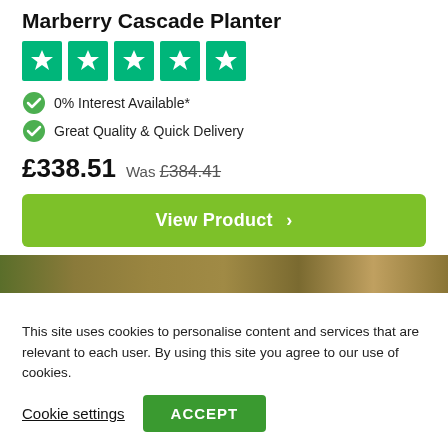Marberry Cascade Planter
[Figure (other): Five green Trustpilot star rating boxes with white stars]
0% Interest Available*
Great Quality & Quick Delivery
£338.51 Was £384.41
[Figure (other): Green 'View Product >' button]
[Figure (photo): Partial product image showing foliage/planter]
This site uses cookies to personalise content and services that are relevant to each user. By using this site you agree to our use of cookies.
Cookie settings  ACCEPT